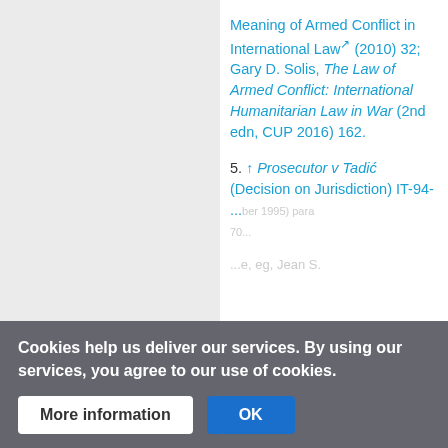Meaning of Armed Conflict in International Law (2010) 32; Gary D. Solis, The Law of Armed Conflict: International Humanitarian Law in War (2nd edn, CUP 2016) 162.
5. ↑ Prosecutor v Tadić (Decision on Jurisdiction) IT-94-... (ber 1995) para 70...
Cookies help us deliver our services. By using our services, you agree to our use of cookies.